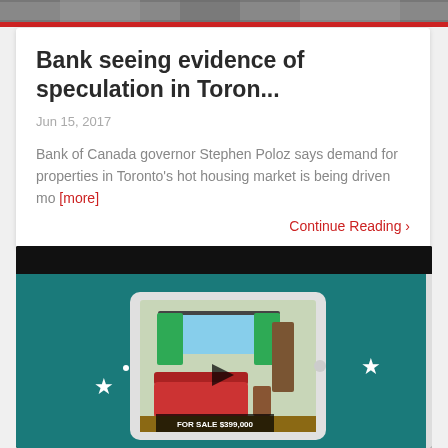[Figure (photo): Top strip showing a building/architecture photo in grayscale]
Bank seeing evidence of speculation in Toron...
Jun 15, 2017
Bank of Canada governor Stephen Poloz says demand for properties in Toronto's hot housing market is being driven mo [more]
Continue Reading >
[Figure (illustration): Video thumbnail showing a teal background with white stars and a tablet device displaying a real estate listing: a living room with red sofa and 'FOR SALE $399,000' text overlay, with a play button]